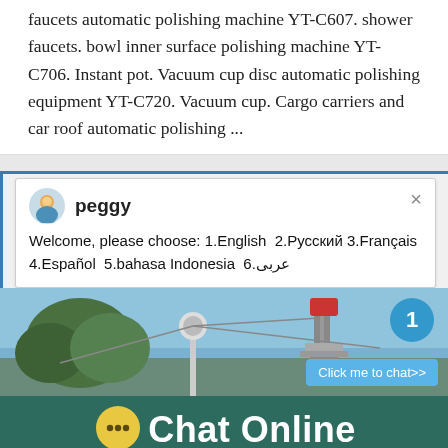faucets automatic polishing machine YT-C607. shower faucets. bowl inner surface polishing machine YT-C706. Instant pot. Vacuum cup disc automatic polishing equipment YT-C720. Vacuum cup. Cargo carriers and car roof automatic polishing ...
[Figure (screenshot): Live chat widget popup with avatar of agent named 'peggy', showing welcome message with language options: 1.English 2.Русский 3.Français 4.Español 5.bahasa Indonesia 6.عربی, with a close button (×) in top right]
[Figure (photo): Outdoor industrial machinery scene with blue sky and trees in background, with a circular blue notification badge showing '1' and a 'Click me to chat>>' button]
Chat Online